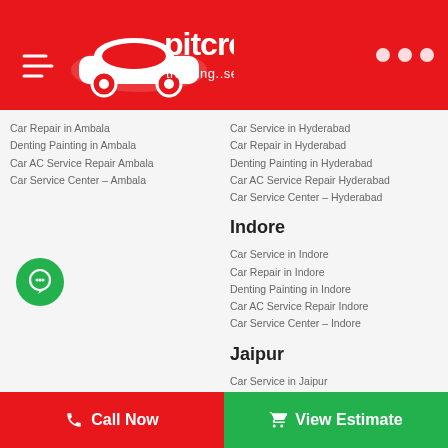pitcrew tracking..servicing..
Car Repair in Ambala
Denting Painting in Ambala
Car AC Service Repair Ambala
Car Service Center – Ambala
Car Service in Hyderabad
Car Repair in Hyderabad
Denting Painting in Hyderabad
Car AC Service Repair Hyderabad
Car Service Center – Hyderabad
Indore
Car Service in Indore
Car Repair in Indore
Denting Painting in Indore
Car AC Service Repair Indore
Car Service Center – Indore
Jaipur
Car Service in Jaipur
Car Repair in Jaipur
Denting Painting in Jaipur
Car AC Service Repair Jaipur
Car Service Center – Jaipur
Call Now   View Estimate